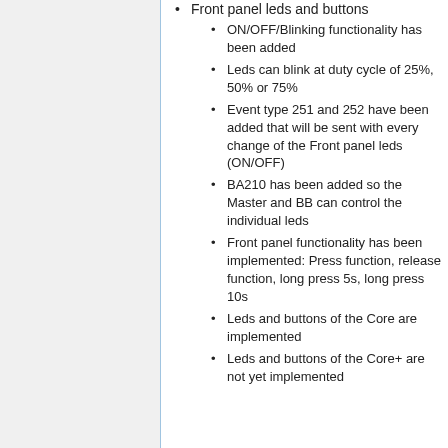Front panel leds and buttons
ON/OFF/Blinking functionality has been added
Leds can blink at duty cycle of 25%, 50% or 75%
Event type 251 and 252 have been added that will be sent with every change of the Front panel leds (ON/OFF)
BA210 has been added so the Master and BB can control the individual leds
Front panel functionality has been implemented: Press function, release function, long press 5s, long press 10s
Leds and buttons of the Core are implemented
Leds and buttons of the Core+ are not yet implemented